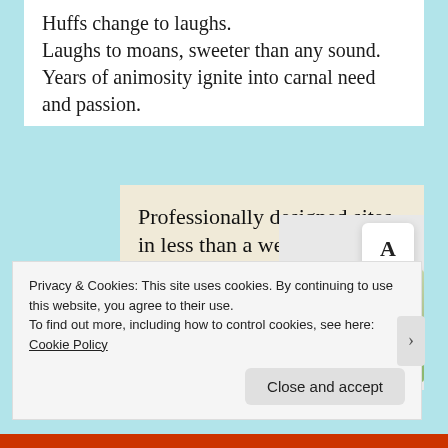Huffs change to laughs.
Laughs to moans, sweeter than any sound.
Years of animosity ignite into carnal need and passion.
[Figure (screenshot): Advertisement banner for a website builder service. Beige background with text 'Professionally designed sites in less than a week', a green 'Explore options' button, and a decorative screenshot of a website with food imagery and a letter 'A' card.]
Privacy & Cookies: This site uses cookies. By continuing to use this website, you agree to their use.
To find out more, including how to control cookies, see here: Cookie Policy
Close and accept